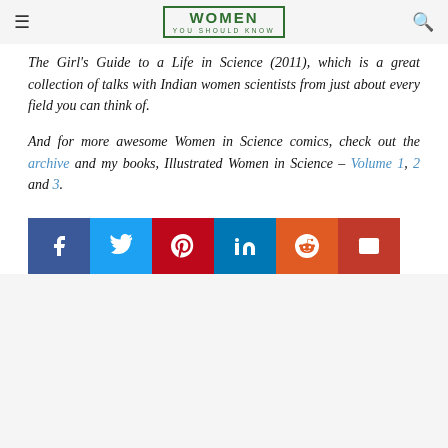WOMEN YOU SHOULD KNOW
The Girl's Guide to a Life in Science (2011), which is a great collection of talks with Indian women scientists from just about every field you can think of.
And for more awesome Women in Science comics, check out the archive and my books, Illustrated Women in Science – Volume 1, 2 and 3.
[Figure (infographic): Social share buttons: Facebook, Twitter, Pinterest, LinkedIn, Reddit, Email]